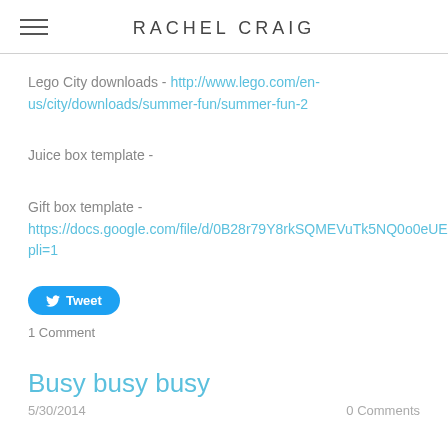RACHEL CRAIG
Lego City downloads - http://www.lego.com/en-us/city/downloads/summer-fun/summer-fun-2
Juice box template -
Gift box template - https://docs.google.com/file/d/0B28r79Y8rkSQMEVuTk5NQ0o0eUE/edit?pli=1
Tweet
1 Comment
Busy busy busy
5/30/2014    0 Comments